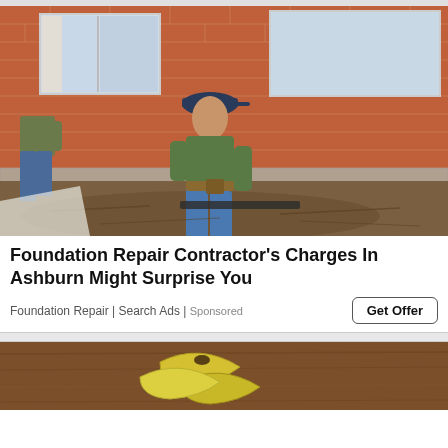[Figure (photo): Two workers doing foundation repair work alongside a red brick house. One worker in a green shirt and blue jeans kneeling, working in excavated dirt near the foundation. Another worker partially visible on the left. Windows of the brick house visible in background.]
Foundation Repair Contractor's Charges In Ashburn Might Surprise You
Foundation Repair | Search Ads | Sponsored
Get Offer
[Figure (photo): Partial image of bananas on a wooden surface, cropped at the bottom of the page.]